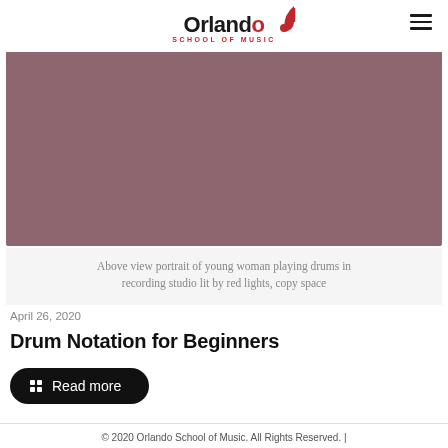Orlando School of Music
[Figure (photo): Mauve/dusty rose colored placeholder image rectangle representing an above-view portrait of a young woman playing drums in a recording studio lit by red lights]
Above view portrait of young woman playing drums in recording studio lit by red lights, copy space
April 26, 2020
Drum Notation for Beginners
Read more
© 2020 Orlando School of Music. All Rights Reserved. | Design by Supersad Productions